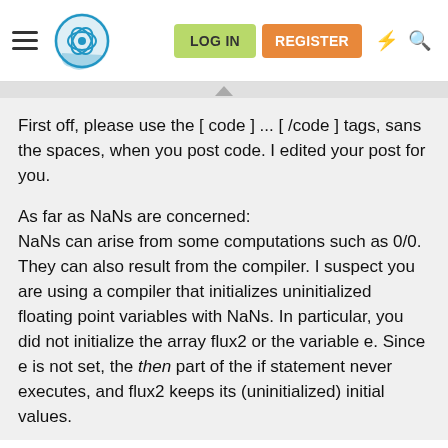LOG IN  REGISTER
First off, please use the [ code ] ... [ /code ] tags, sans the spaces, when you post code. I edited your post for you.
As far as NaNs are concerned:
NaNs can arise from some computations such as 0/0. They can also result from the compiler. I suspect you are using a compiler that initializes uninitialized floating point variables with NaNs. In particular, you did not initialize the array flux2 or the variable e. Since e is not set, the then part of the if statement never executes, and flux2 keeps its (uninitialized) initial values.